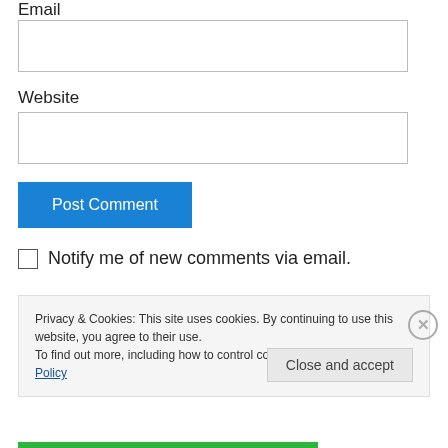Email
[Figure (other): Empty email text input field]
Website
[Figure (other): Empty website text input field]
[Figure (other): Blue 'Post Comment' button]
Notify me of new comments via email.
Privacy & Cookies: This site uses cookies. By continuing to use this website, you agree to their use. To find out more, including how to control cookies, see here: Cookie Policy
Close and accept